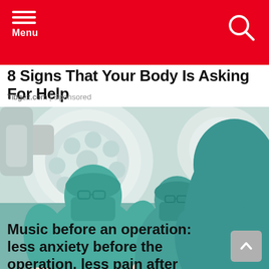Menu
8 Signs That Your Body Is Asking For Help
Tibgez.com | Sponsored
[Figure (photo): Medical professionals in teal surgical scrubs and masks performing or assisting in an operation, photographed from below looking up, with large circular OR lights visible overhead.]
Music before an operation: less anxiety before the operation, less pain after